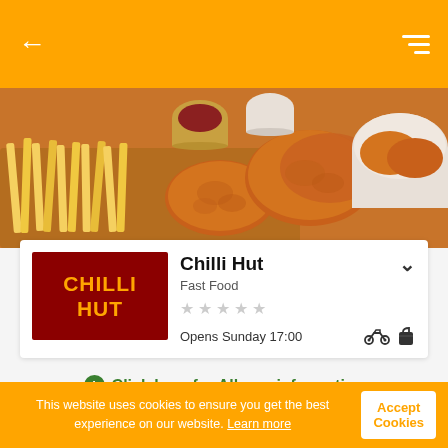← Chilli Hut (navigation bar with back arrow and hamburger menu)
[Figure (photo): Food photo showing fried chicken pieces and french fries on a wooden board with dipping sauces]
Chilli Hut
Fast Food
★ ★ ★ ★ ★
Opens Sunday 17:00
Click here for Allergy information
| Menu | Info | Reviews |
| --- | --- | --- |
This website uses cookies to ensure you get the best experience on our website. Learn more
Accept Cookies